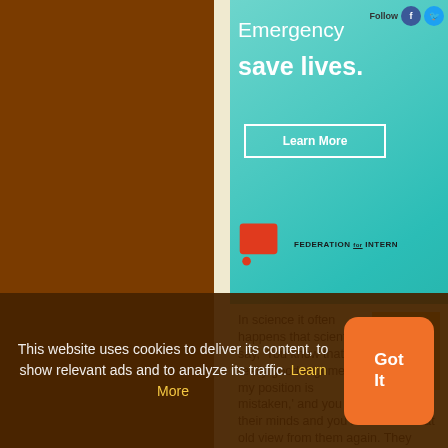[Figure (screenshot): Dark brown background panel occupying the left side of the page]
[Figure (illustration): Teal/turquoise advertisement banner for Federation for Internet. Shows 'Emergency save lives.' text, a Learn More button, social media follow icons (Facebook, Twitter), and Federation for International logo with red flag icon.]
In science it often happens that scientists say, 'You know that's a really good argument; my position is mistaken,' and you actually change their minds and you never hear that old view from them again. They really
This website uses cookies to deliver its content, to show relevant ads and to analyze its traffic. Learn More
Got It